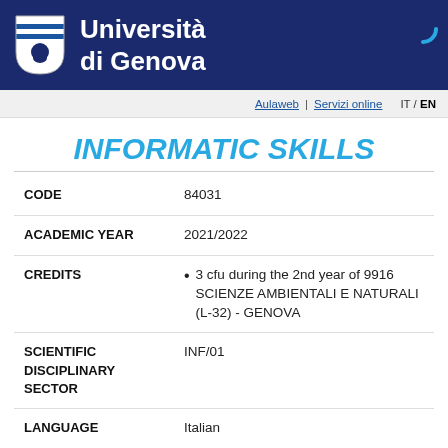[Figure (logo): Università di Genova logo with shield and university name in white on dark blue header bar]
Aulaweb | Servizi online   IT / EN
INFORMATIC SKILLS
| Field | Value |
| --- | --- |
| CODE | 84031 |
| ACADEMIC YEAR | 2021/2022 |
| CREDITS | 3 cfu during the 2nd year of 9916 SCIENZE AMBIENTALI E NATURALI (L-32) - GENOVA |
| SCIENTIFIC DISCIPLINARY SECTOR | INF/01 |
| LANGUAGE | Italian |